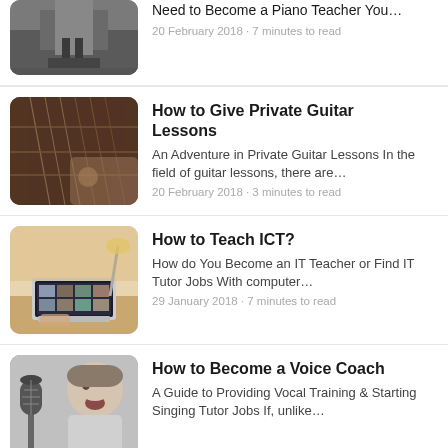[Figure (photo): Partial view of person at piano, black and white]
Need to Become a Piano Teacher You…
20 February 2018 • 7 minutes to read
[Figure (photo): Close-up of hands playing electric guitar]
How to Give Private Guitar Lessons
An Adventure in Private Guitar Lessons In the field of guitar lessons, there are…
20 February 2018 • 3 minutes to read
[Figure (photo): Person typing on laptop with photo grid on screen]
How to Teach ICT?
How do You Become an IT Teacher or Find IT Tutor Jobs With computer…
29 January 2018 • 7 minutes to read
[Figure (photo): Young boy singing into microphone, black and white]
How to Become a Voice Coach
A Guide to Providing Vocal Training & Starting Singing Tutor Jobs If, unlike…